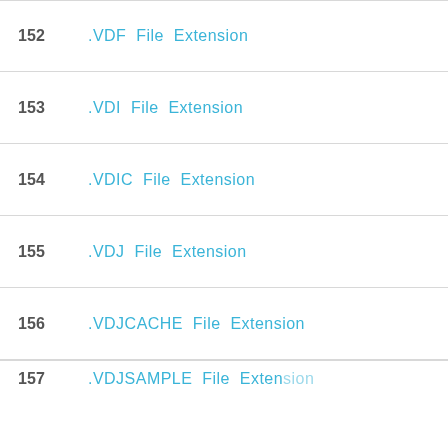152  .VDF File Extension
153  .VDI File Extension
154  .VDIC File Extension
155  .VDJ File Extension
156  .VDJCACHE File Extension
157  .VDJSAMPLE File Extension